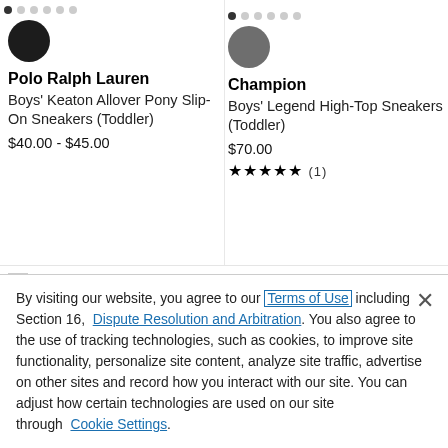[Figure (screenshot): Product listing cards for two sneaker products side by side with dot navigation indicators and brand icons]
Hey Dude Boys' Wally
By visiting our website, you agree to our Terms of Use including Section 16, Dispute Resolution and Arbitration. You also agree to the use of tracking technologies, such as cookies, to improve site functionality, personalize site content, analyze site traffic, advertise on other sites and record how you interact with our site. You can adjust how certain technologies are used on our site through Cookie Settings.